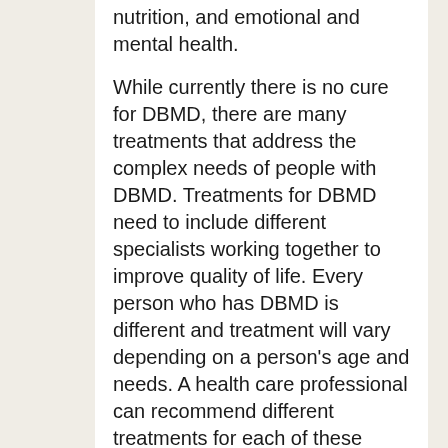nutrition, and emotional and mental health.
While currently there is no cure for DBMD, there are many treatments that address the complex needs of people with DBMD. Treatments for DBMD need to include different specialists working together to improve quality of life. Every person who has DBMD is different and treatment will vary depending on a person's age and needs. A health care professional can recommend different treatments for each of these complications.
Learn about Treatments for DBMD